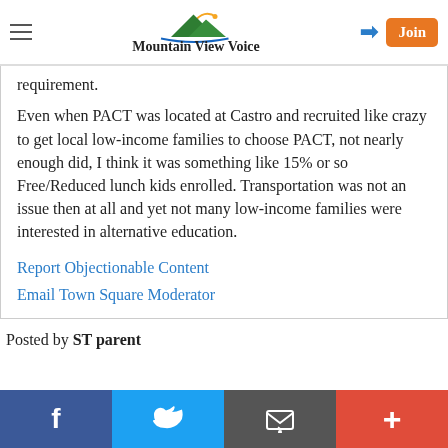Mountain View Voice
requirement.
Even when PACT was located at Castro and recruited like crazy to get local low-income families to choose PACT, not nearly enough did, I think it was something like 15% or so Free/Reduced lunch kids enrolled. Transportation was not an issue then at all and yet not many low-income families were interested in alternative education.
Report Objectionable Content
Email Town Square Moderator
Posted by ST parent